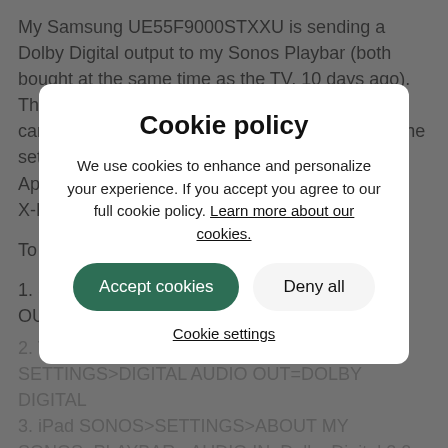My Samsung UE55F9000STXXU is sending a Dolby Digital output to my Sonos Playbar (both bought at the same time as the TV, 10 days ago). The TV is running firmware version 1008, and came with 1006 installed, it upgraded as part of the setup. I am UK based, and am using Sky+ HD, Apple TV, Samsung BD-F7500/XU Blue Ray, and X-Box. My Sonos system is 'up to date'.
To enable Dolby Digital I did the following:
1. Sky SETTINGS>SOUND>DIGITAL AUDIO OUPUT - HDMI=DOLBY D
2. TV MENU>SOUND>ADDITIONAL SETTINGS>DIGITAL AUDIO OUT=DOLBY DIGITAL
3. iPad SONOS>SETTINGS>ABOUT MY SONOS=PLAYBAR - AUDIO IN: Dolby Digital 2.0
Happy chappy!
I read plenty of posts in this forum, and figured it out. Just got to save up for my Play 1's to finish the surround part...................
Cookie policy
We use cookies to enhance and personalize your experience. If you accept you agree to our full cookie policy. Learn more about our cookies.